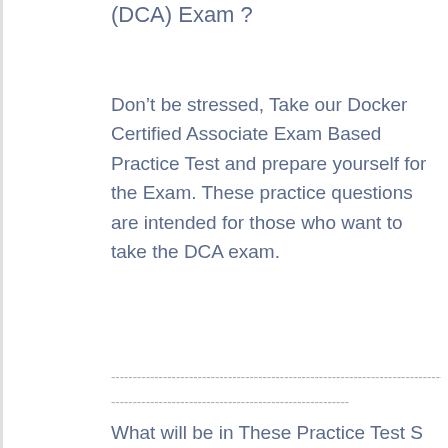(DCA) Exam ?
Don’t be stressed, Take our Docker Certified Associate Exam Based Practice Test and prepare yourself for the Exam. These practice questions are intended for those who want to take the DCA exam.
----------------------------------------------------------------------------------------------------------------------------------------
------------------------------------------------------
What will be in These Practice Test S...